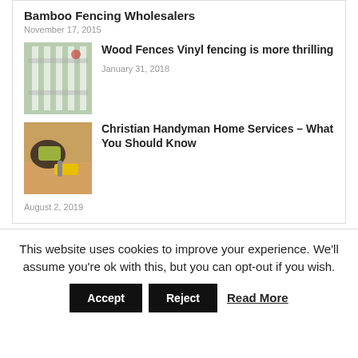Bamboo Fencing Wholesalers
November 17, 2015
[Figure (photo): White vinyl or wood fence with greenery visible through slats]
Wood Fences Vinyl fencing is more thrilling
January 31, 2018
[Figure (photo): Person wearing yellow-green gloves using a power drill on wood]
Christian Handyman Home Services – What You Should Know
August 2, 2019
This website uses cookies to improve your experience. We'll assume you're ok with this, but you can opt-out if you wish.
Accept   Reject   Read More